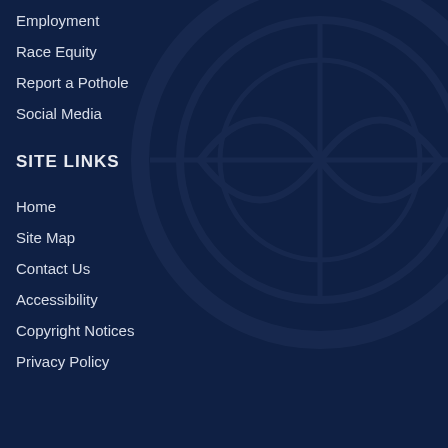Employment
Race Equity
Report a Pothole
Social Media
SITE LINKS
Home
Site Map
Contact Us
Accessibility
Copyright Notices
Privacy Policy